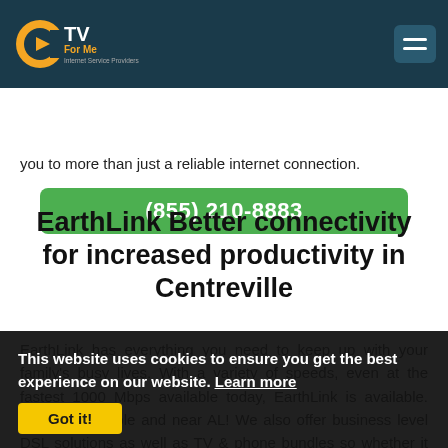CTV For Me - Internet Service Providers
(855) 210-8883
you to more than just a reliable internet connection.
EarthLink Better connectivity for increased productivity in Centreville
EarthLink has everything you need to keep up with your family's busy lives. With a variety of speeds, even at the fastest 1000 Mbps available today, EarthLink is available. they're available and near AL! We also offer business level DSL solutions as well as TV & phone bundles so whether it be residential needs or small businesses we've got something that works
This website uses cookies to ensure you get the best experience on our website. Learn more
Got it!